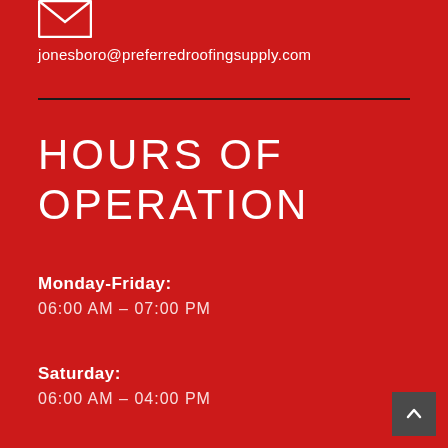[Figure (illustration): Email envelope icon (outline, white) in top left area]
jonesboro@preferredroofingsupply.com
HOURS OF OPERATION
Monday-Friday:
06:00 AM – 07:00 PM
Saturday:
06:00 AM – 04:00 PM